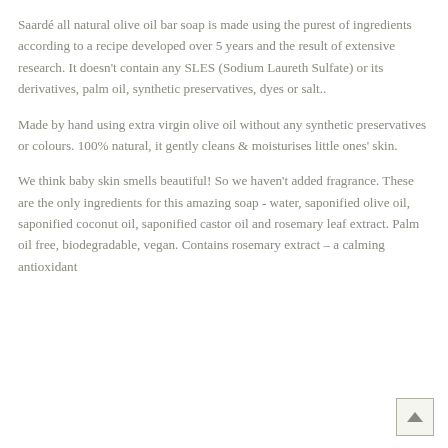Saardé all natural olive oil bar soap is made using the purest of ingredients according to a recipe developed over 5 years and the result of extensive research.  It doesn't contain any SLES (Sodium Laureth Sulfate) or its derivatives, palm oil, synthetic preservatives, dyes or salt..
Made by hand using extra virgin olive oil without any synthetic preservatives or colours.  100% natural, it gently cleans & moisturises little ones' skin.
We think baby skin smells beautiful!  So we haven't added fragrance.  These are the only ingredients for this amazing soap - water, saponified olive oil, saponified coconut oil, saponified castor oil and rosemary leaf extract.   Palm oil free, biodegradable, vegan.  Contains rosemary extract – a calming antioxidant